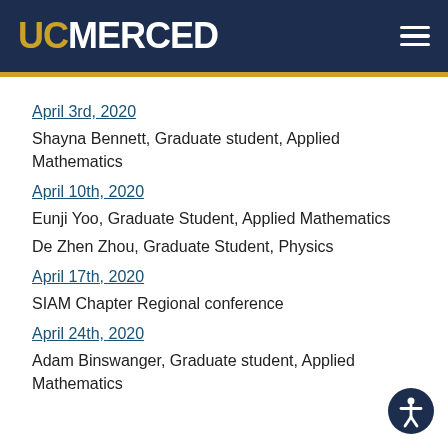UC MERCED
April 3rd, 2020
Shayna Bennett, Graduate student, Applied Mathematics
April 10th, 2020
Eunji Yoo, Graduate Student, Applied Mathematics
De Zhen Zhou, Graduate Student, Physics
April 17th, 2020
SIAM Chapter Regional conference
April 24th, 2020
Adam Binswanger, Graduate student, Applied Mathematics